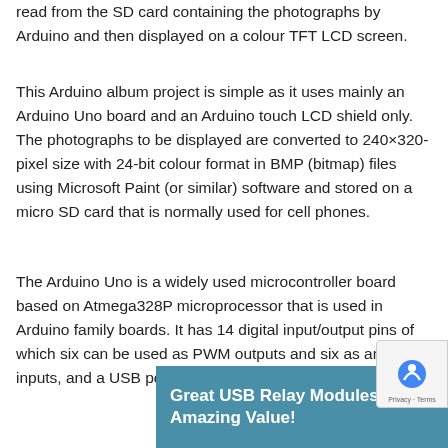read from the SD card containing the photographs by Arduino and then displayed on a colour TFT LCD screen.
This Arduino album project is simple as it uses mainly an Arduino Uno board and an Arduino touch LCD shield only. The photographs to be displayed are converted to 240×320-pixel size with 24-bit colour format in BMP (bitmap) files using Microsoft Paint (or similar) software and stored on a micro SD card that is normally used for cell phones.
The Arduino Uno is a widely used microcontroller board based on Atmega328P microprocessor that is used in Arduino family boards. It has 14 digital input/output pins of which six can be used as PWM outputs and six as analogue inputs, and a USB port with 16MHz quartz crystal.
[Figure (infographic): Advertisement banner reading 'Great USB Relay Modules at Amazing Value!']